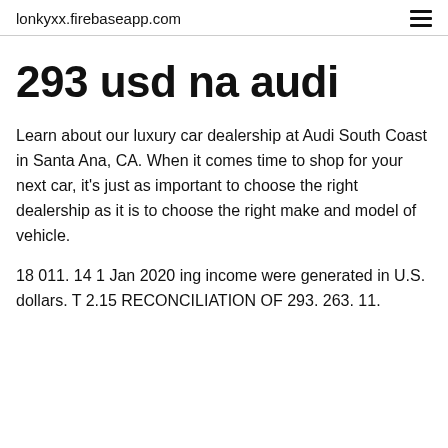lonkyxx.firebaseapp.com
293 usd na audi
Learn about our luxury car dealership at Audi South Coast in Santa Ana, CA. When it comes time to shop for your next car, it's just as important to choose the right dealership as it is to choose the right make and model of vehicle.
18 011. 14 1 Jan 2020 ing income were generated in U.S. dollars. T 2.15 RECONCILIATION OF 293. 263. 11.